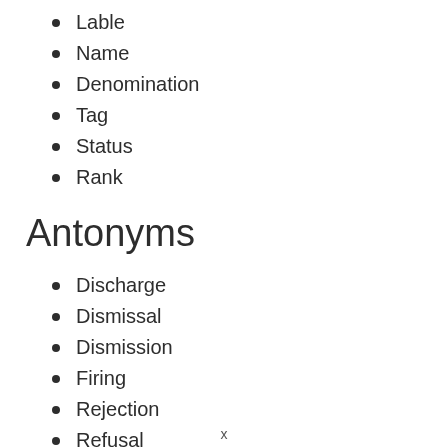Lable
Name
Denomination
Tag
Status
Rank
Antonyms
Discharge
Dismissal
Dismission
Firing
Rejection
Refusal
Dishonor